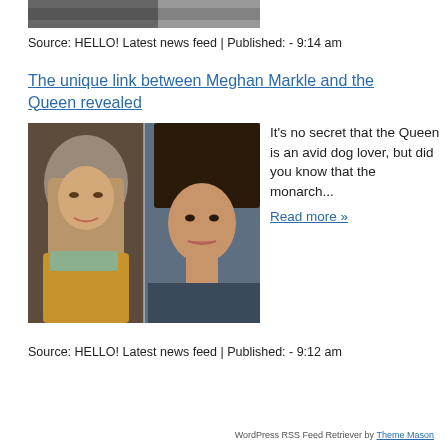[Figure (photo): Partial cropped photo at top of page showing two people]
Source: HELLO! Latest news feed | Published: - 9:14 am
The unique link between Meghan Markle and the Queen revealed
[Figure (photo): Side-by-side photo: Queen Elizabeth II on left, Meghan Markle on right]
It’s no secret that the Queen is an avid dog lover, but did you know that the monarch... Read more »
Source: HELLO! Latest news feed | Published: - 9:12 am
WordPress RSS Feed Retriever by Theme Mason